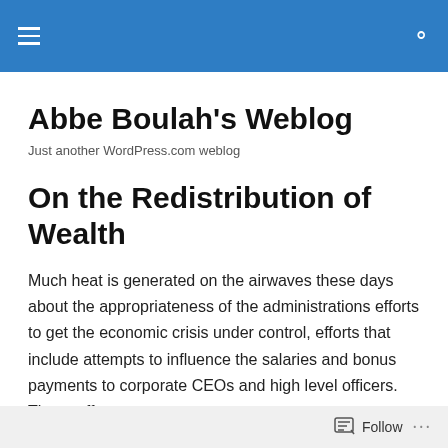Abbe Boulah's Weblog — navigation bar
Abbe Boulah's Weblog
Just another WordPress.com weblog
On the Redistribution of Wealth
Much heat is generated on the airwaves these days about the appropriateness of the administrations efforts to get the economic crisis under control, efforts that include attempts to influence the salaries and bonus payments to corporate CEOs and high level officers. These efforts are
Follow ...